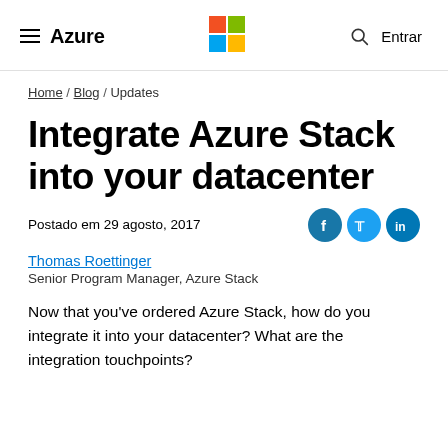Azure | Microsoft Logo | Entrar
Home / Blog / Updates
Integrate Azure Stack into your datacenter
Postado em 29 agosto, 2017
Thomas Roettinger
Senior Program Manager, Azure Stack
Now that you've ordered Azure Stack, how do you integrate it into your datacenter? What are the integration touchpoints?